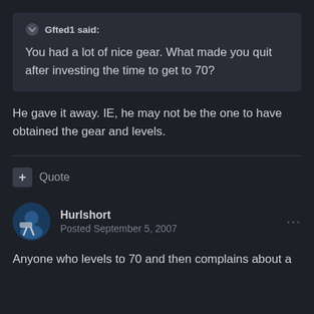Gfted1 said: You had a lot of nice gear. What made you quit after investing the time to get to 70?
He gave it away. IE, he may not be the one to have obtained the gear and levels.
+ Quote
Hurlshort
Posted September 5, 2007
Anyone who levels to 70 and then complains about a